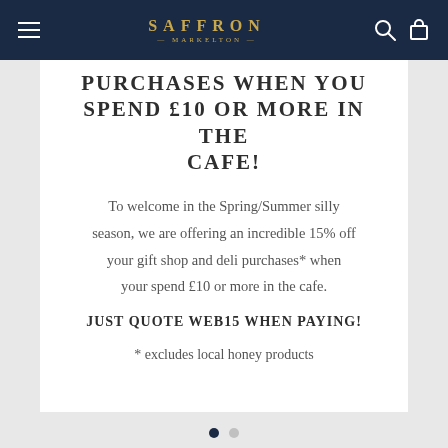SAFFRON — navigation header with hamburger menu, logo, search and cart icons
PURCHASES WHEN YOU SPEND £10 OR MORE IN THE CAFE!
To welcome in the Spring/Summer silly season, we are offering an incredible 15% off your gift shop and deli purchases* when your spend £10 or more in the cafe.
JUST QUOTE WEB15 WHEN PAYING!
* excludes local honey products